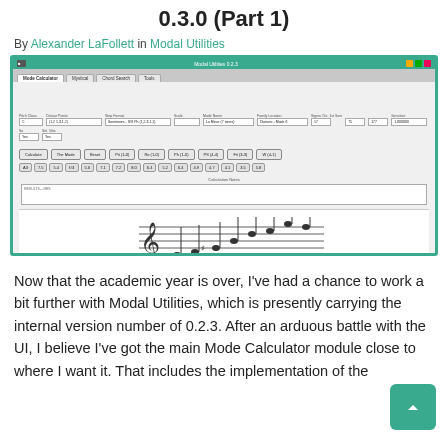0.3.0 (Part 1)
By Alexander LaFollett in Modal Utilities
[Figure (screenshot): Screenshot of Modal Utilities v0.2.3 desktop application showing Mode Calculator module with tabs, input fields, calculate button, note chips, results area, and sheet music staff with notes.]
Now that the academic year is over, I've had a chance to work a bit further with Modal Utilities, which is presently carrying the internal version number of 0.2.3. After an arduous battle with the UI, I believe I've got the main Mode Calculator module close to where I want it. That includes the implementation of the